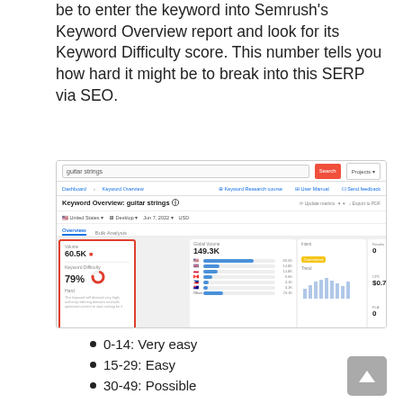be to enter the keyword into Semrush's Keyword Overview report and look for its Keyword Difficulty score. This number tells you how hard it might be to break into this SERP via SEO.
[Figure (screenshot): Screenshot of Semrush Keyword Overview tool showing 'guitar strings' keyword with Keyword Difficulty score of 79% (Hard), Volume 60.5K, Global Volume 149.3K, CPC $0.71, Com 1.00, and a red arrow pointing to the Keyword Difficulty box.]
0-14: Very easy
15-29: Easy
30-49: Possible
50-69: Difficult
70-84: Hard